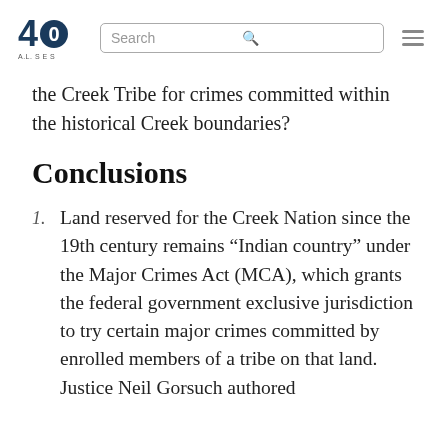40 [logo] | Search | [menu]
the Creek Tribe for crimes committed within the historical Creek boundaries?
Conclusions
Land reserved for the Creek Nation since the 19th century remains “Indian country” under the Major Crimes Act (MCA), which grants the federal government exclusive jurisdiction to try certain major crimes committed by enrolled members of a tribe on that land. Justice Neil Gorsuch authored